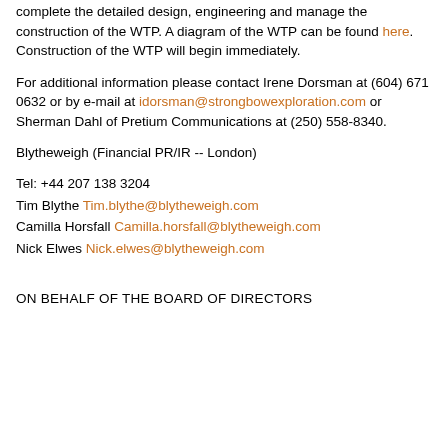complete the detailed design, engineering and manage the construction of the WTP. A diagram of the WTP can be found here. Construction of the WTP will begin immediately.
For additional information please contact Irene Dorsman at (604) 671 0632 or by e-mail at idorsman@strongbowexploration.com or Sherman Dahl of Pretium Communications at (250) 558-8340.
Blytheweigh (Financial PR/IR -- London)
Tel: +44 207 138 3204
Tim Blythe Tim.blythe@blytheweigh.com
Camilla Horsfall Camilla.horsfall@blytheweigh.com
Nick Elwes Nick.elwes@blytheweigh.com
ON BEHALF OF THE BOARD OF DIRECTORS